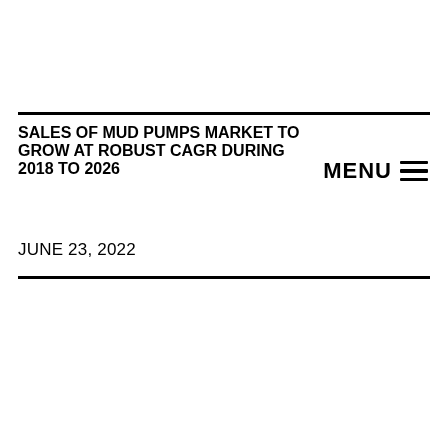SALES OF MUD PUMPS MARKET TO GROW AT ROBUST CAGR DURING 2018 TO 2026
JUNE 23, 2022